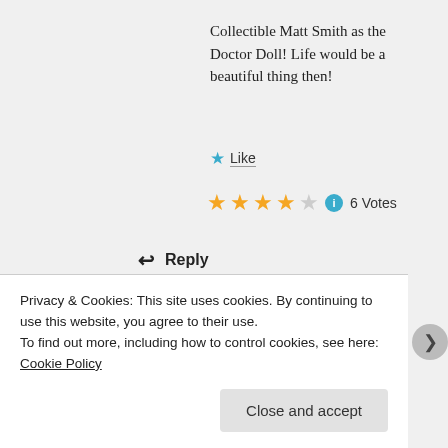Collectible Matt Smith as the Doctor Doll! Life would be a beautiful thing then!
★ Like
★★★★☆ ℹ 6 Votes
↩ Reply
[Figure (logo): Blue square avatar with white power button icon for user redcordelia]
redcordelia
JUNE 5, 2012 AT 10:47 PM
I think it's a symptom of her delusion that she
Privacy & Cookies: This site uses cookies. By continuing to use this website, you agree to their use.
To find out more, including how to control cookies, see here: Cookie Policy
Close and accept